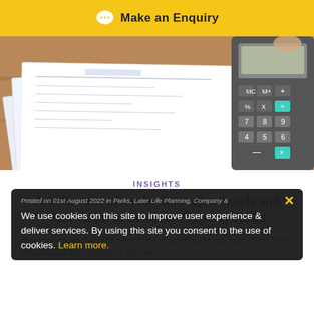Make an Enquiry
[Figure (photo): Tax forms and documents spread on a wooden table with a calculator and a person's hand in the background]
INSIGHTS
Another one bites the dust: aparthotels and their claim to Business Property Relief
Posted on 01st August 2022 in Parks, Later Life Planning, Company &
We use cookies on this site to improve user experience & deliver services. By using this site you consent to the use of cookies. Learn more.
Businesses will be well aware of the potentially valuable relief from Inheritance Tax known as Business